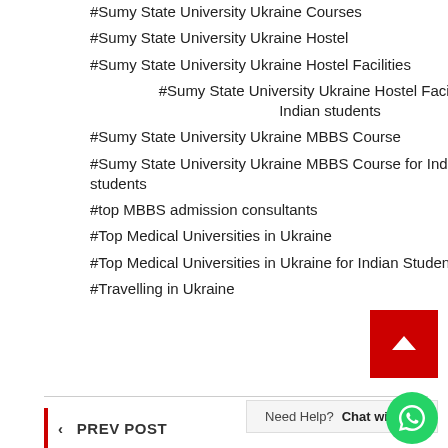#Sumy State University Ukraine Courses
#Sumy State University Ukraine Hostel
#Sumy State University Ukraine Hostel Facilities
#Sumy State University Ukraine Hostel Facilities for Indian students
#Sumy State University Ukraine MBBS Course
#Sumy State University Ukraine MBBS Course for Indian students
#top MBBS admission consultants
#Top Medical Universities in Ukraine
#Top Medical Universities in Ukraine for Indian Students
#Travelling in Ukraine
Need Help? Chat with us
< PREV POST